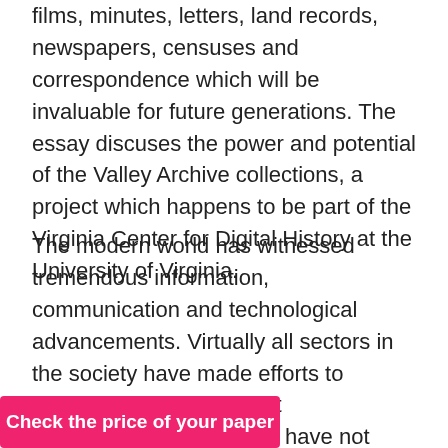films, minutes, letters, land records, newspapers, censuses and correspondence which will be invaluable for future generations. The essay discuses the power and potential of the Valley Archive collections, a project which happens to be part of the Virginia Center for Digital History at the University of Virginia.
The modern world has witnessed tremendous information, communication and technological advancements. Virtually all sectors in the society have made efforts to integrate these significant developments. Historians have not been left behind as far as keeping important records that gives an account of the past is concerned. The Valley of the Shadow is a digital archive of very crucial sources of information about the people of Augusta County, Virginia, and Franklin County, Pennsylvania, during War between 1859
Check the price of your paper